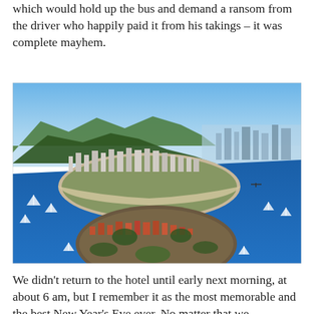which would hold up the bus and demand a ransom from the driver who happily paid it from his takings – it was complete mayhem.
[Figure (photo): Aerial photograph of a coastal city, likely Rio de Janeiro, showing a bay with a peninsula covered in dense urban buildings, surrounded by blue water with sailboats, green hills in the background, and a clear blue sky.]
We didn't return to the hotel until early next morning, at about 6 am, but I remember it as the most memorable and the best New Year's Eve ever. No matter that we